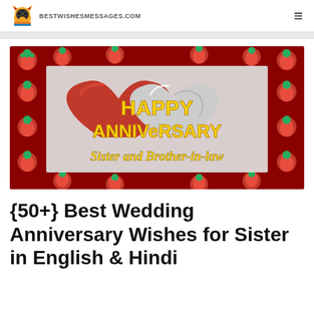bestwishesmessages.com
[Figure (illustration): Happy Anniversary greeting card image with red and silver 3D hearts, strawberry border background, yellow bold text reading HAPPY ANNIVERSARY, and yellow italic text reading Sister and Brother-in-law]
{50+} Best Wedding Anniversary Wishes for Sister in English & Hindi